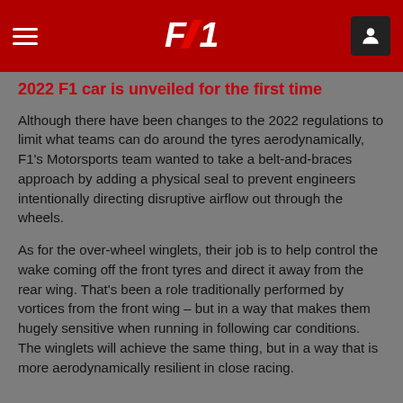F1 Navigation Bar
2022 F1 car is unveiled for the first time
Although there have been changes to the 2022 regulations to limit what teams can do around the tyres aerodynamically, F1’s Motorsports team wanted to take a belt-and-braces approach by adding a physical seal to prevent engineers intentionally directing disruptive airflow out through the wheels.
As for the over-wheel winglets, their job is to help control the wake coming off the front tyres and direct it away from the rear wing. That’s been a role traditionally performed by vortices from the front wing – but in a way that makes them hugely sensitive when running in following car conditions. The winglets will achieve the same thing, but in a way that is more aerodynamically resilient in close racing.